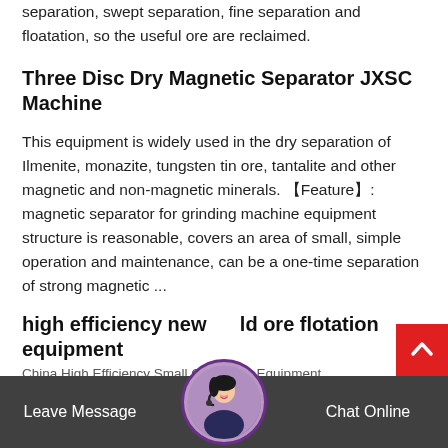separation, swept separation, fine separation and floatation, so the useful ore are reclaimed.
Three Disc Dry Magnetic Separator JXSC Machine
This equipment is widely used in the dry separation of Ilmenite, monazite, tungsten tin ore, tantalite and other magnetic and non-magnetic minerals. 【Feature】: magnetic separator for grinding machine equipment structure is reasonable, covers an area of small, simple operation and maintenance, can be a one-time separation of strong magnetic ...
high efficiency new gold ore flotation equipment
China High Efficiency Small Gold Mine Equipment
Leave Message  Chat Online